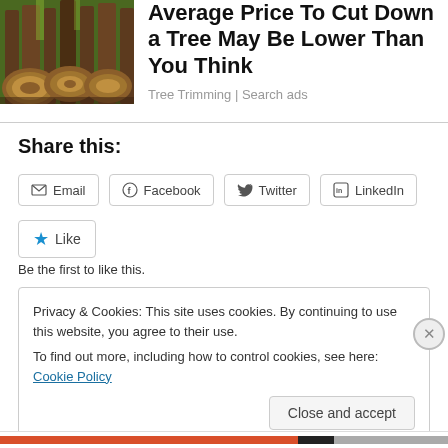[Figure (photo): Logs stacked in a forest setting, brown tree trunks in background]
Average Price To Cut Down a Tree May Be Lower Than You Think
Tree Trimming | Search ads
Share this:
Email  Facebook  Twitter  LinkedIn
Like
Be the first to like this.
Privacy & Cookies: This site uses cookies. By continuing to use this website, you agree to their use.
To find out more, including how to control cookies, see here: Cookie Policy
Close and accept